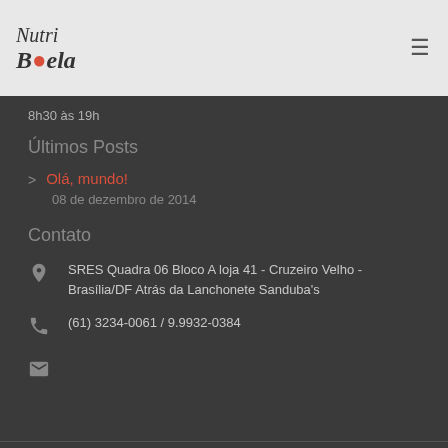[Figure (logo): NutriBela logo in italic script with a red dot accent]
8h30 às 19h
Últimos Posts
Olá, mundo! — 08 de dezembro de 2014
Contato
SRES Quadra 06 Bloco A loja 41 - Cruzeiro Velho - Brasília/DF Atrás da Lanchonete Sanduba's
(61) 3234-0061 / 9.9932-0384
[Figure (illustration): Envelope/mail icon]